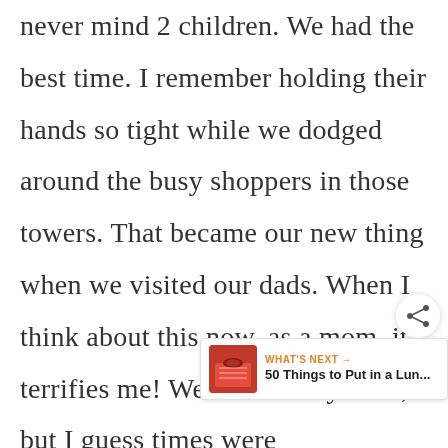never mind 2 children. We had the best time. I remember holding their hands so tight while we dodged around the busy shoppers in those towers. That became our new thing when we visited our dads. When I think about this now, as a mom, it terrifies me! We were really little, but I guess times were
[Figure (other): Share button (circular icon with share symbol)]
[Figure (other): WHAT'S NEXT widget showing '50 Things to Put in a Lun...' with a food thumbnail image]